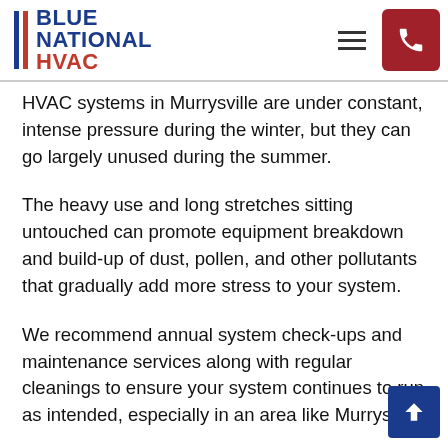BLUE NATIONAL HVAC
HVAC systems in Murrysville are under constant, intense pressure during the winter, but they can go largely unused during the summer.
The heavy use and long stretches sitting untouched can promote equipment breakdown and build-up of dust, pollen, and other pollutants that gradually add more stress to your system.
We recommend annual system check-ups and maintenance services along with regular cleanings to ensure your system continues to run as intended, especially in an area like Murrysville